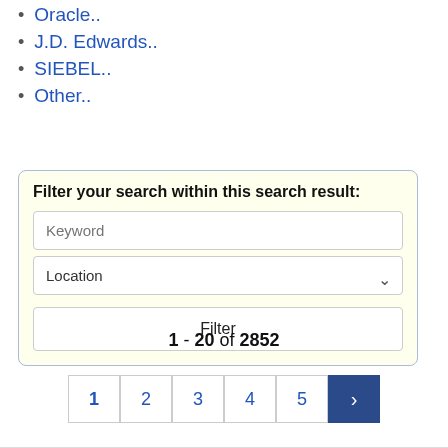Oracle..
J.D. Edwards..
SIEBEL..
Other..
Filter your search within this search result:
1 - 20 of 2852